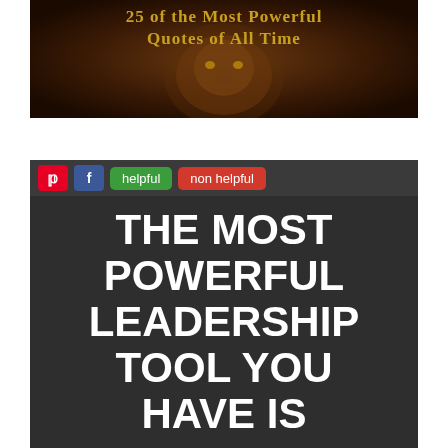[Figure (illustration): Dark image with a lion face and gold text reading '25 of the Most Powerful Quotes of All Time']
[Figure (infographic): Social sharing buttons (Pinterest, Facebook, helpful, non helpful) above a dark background image with bold white text reading 'THE MOST POWERFUL LEADERSHIP TOOL YOU HAVE IS']